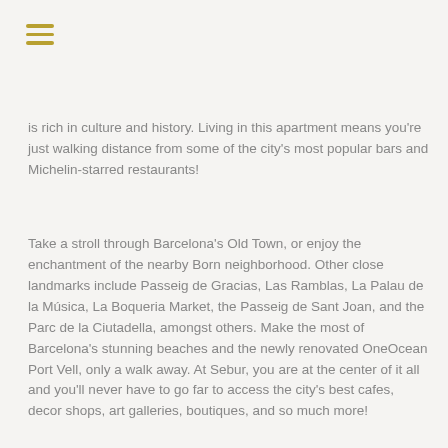☰
is rich in culture and history. Living in this apartment means you're just walking distance from some of the city's most popular bars and Michelin-starred restaurants!
Take a stroll through Barcelona's Old Town, or enjoy the enchantment of the nearby Born neighborhood. Other close landmarks include Passeig de Gracias, Las Ramblas, La Palau de la Música, La Boqueria Market, the Passeig de Sant Joan, and the Parc de la Ciutadella, amongst others. Make the most of Barcelona's stunning beaches and the newly renovated OneOcean Port Vell, only a walk away. At Sebur, you are at the center of it all and you'll never have to go far to access the city's best cafes, decor shops, art galleries, boutiques, and so much more!